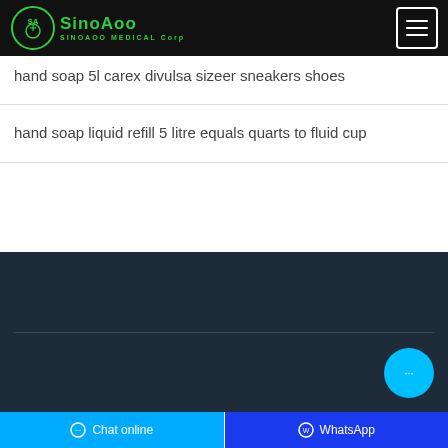SINOAOO MEDICAL Corp
hand soap 5l carex divulsa sizeer sneakers shoes
hand soap liquid refill 5 litre equals quarts to fluid cup
Copyright ©Sinoaoo Medical Corp All rights reserved
Chat online | WhatsApp